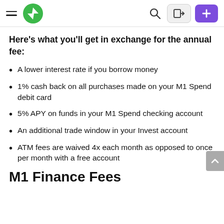Navigation bar with hamburger menu, M1 Finance logo, search, sign-in, and plus buttons
Here’s what you’ll get in exchange for the annual fee:
A lower interest rate if you borrow money
1% cash back on all purchases made on your M1 Spend debit card
5% APY on funds in your M1 Spend checking account
An additional trade window in your Invest account
ATM fees are waived 4x each month as opposed to once per month with a free account
M1 Finance Fees